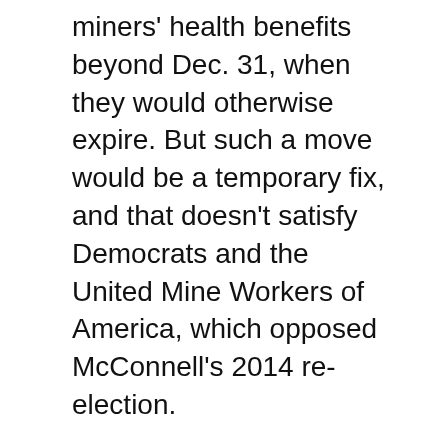miners' health benefits beyond Dec. 31, when they would otherwise expire. But such a move would be a temporary fix, and that doesn't satisfy Democrats and the United Mine Workers of America, which opposed McConnell's 2014 re-election.
Sen. Joe Manchin (D-W.Va.) threatened to hold up action on the resolution unless McConnell grants a floor vote to his bill to permanently guarantee pensions and retiree benefits for more than 100,000 coal workers and dependents, to be funded by fees coal companies pay to the Abandoned Mine Land Fund. "The Congressional Budget Office has said offsets, including Customs and Border Protection fees, would pay for the spending. But Sen. Mike Enzi (R-Wyo.) has called the